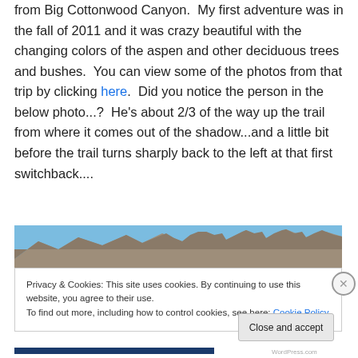from Big Cottonwood Canyon. My first adventure was in the fall of 2011 and it was crazy beautiful with the changing colors of the aspen and other deciduous trees and bushes. You can view some of the photos from that trip by clicking here. Did you notice the person in the below photo...? He's about 2/3 of the way up the trail from where it comes out of the shadow...and a little bit before the trail turns sharply back to the left at that first switchback....
[Figure (photo): Partial photo of a mountain trail scene with rocky terrain and blue sky, partially obscured by cookie consent overlay]
Privacy & Cookies: This site uses cookies. By continuing to use this website, you agree to their use. To find out more, including how to control cookies, see here: Cookie Policy
Close and accept